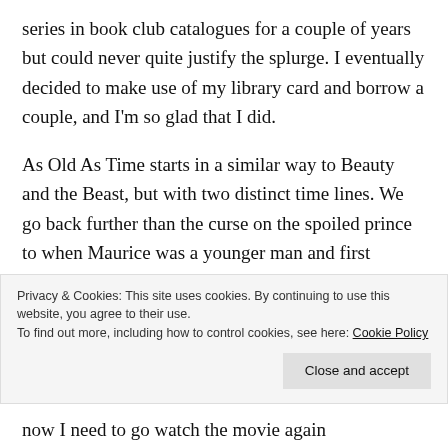series in book club catalogues for a couple of years but could never quite justify the splurge. I eventually decided to make use of my library card and borrow a couple, and I'm so glad that I did.
As Old As Time starts in a similar way to Beauty and the Beast, but with two distinct time lines. We go back further than the curse on the spoiled prince to when Maurice was a younger man and first crossed paths with the enchanting Rosalind.
Alternating chapters tell of the events leading up to the curse of the prince, and the story of Beauty and the
Privacy & Cookies: This site uses cookies. By continuing to use this website, you agree to their use. To find out more, including how to control cookies, see here: Cookie Policy
now I need to go watch the movie again